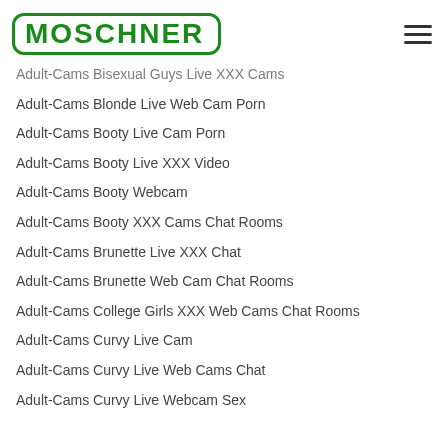MOSCHNER
Adult-Cams Bisexual Guys Live XXX Cams
Adult-Cams Blonde Live Web Cam Porn
Adult-Cams Booty Live Cam Porn
Adult-Cams Booty Live XXX Video
Adult-Cams Booty Webcam
Adult-Cams Booty XXX Cams Chat Rooms
Adult-Cams Brunette Live XXX Chat
Adult-Cams Brunette Web Cam Chat Rooms
Adult-Cams College Girls XXX Web Cams Chat Rooms
Adult-Cams Curvy Live Cam
Adult-Cams Curvy Live Web Cams Chat
Adult-Cams Curvy Live Webcam Sex